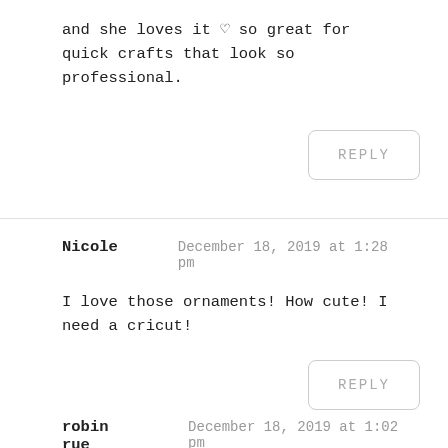and she loves it ♥ so great for quick crafts that look so professional.
REPLY
Nicole   December 18, 2019 at 1:28 pm
I love those ornaments! How cute! I need a cricut!
REPLY
robin rue   December 18, 2019 at 1:02 pm